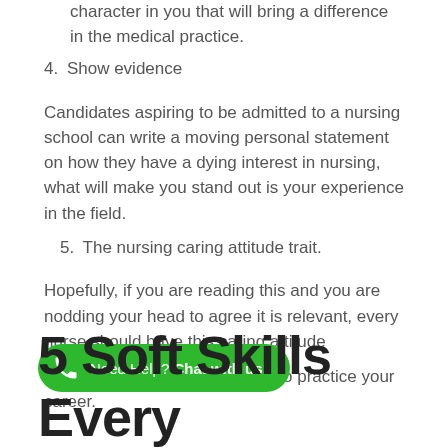character in you that will bring a difference in the medical practice.
4. Show evidence
Candidates aspiring to be admitted to a nursing school can write a moving personal statement on how they have a dying interest in nursing, what will make you stand out is your experience in the field.
5. The nursing caring attitude trait.
Hopefully, if you are reading this and you are nodding your head to agree it is relevant, every nurse should have this caring attitude
Otherwise it will be hell for you to practice your career.
5 Soft Skills Every